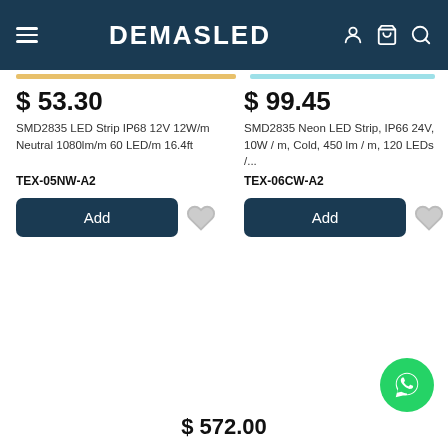DEMASLED
$ 53.30
SMD2835 LED Strip IP68 12V 12W/m Neutral 1080lm/m 60 LED/m 16.4ft
TEX-05NW-A2
$ 99.45
SMD2835 Neon LED Strip, IP66 24V, 10W / m, Cold, 450 lm / m, 120 LEDs /...
TEX-06CW-A2
$ 572.00